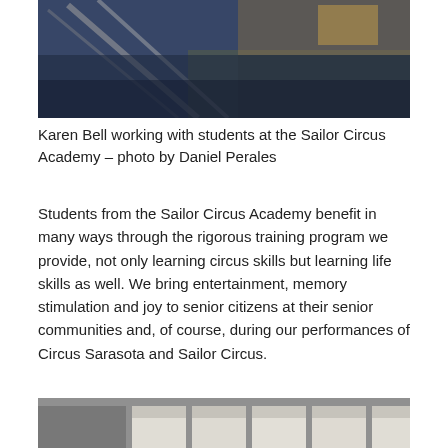[Figure (photo): Photo of Karen Bell working with students at the Sailor Circus Academy, showing equipment and a blue mat on the floor]
Karen Bell working with students at the Sailor Circus Academy – photo by Daniel Perales
Students from the Sailor Circus Academy benefit in many ways through the rigorous training program we provide, not only learning circus skills but learning life skills as well. We bring entertainment, memory stimulation and joy to senior citizens at their senior communities and, of course, during our performances of Circus Sarasota and Sailor Circus.
[Figure (photo): Photo showing papers or cards laid out on a surface]